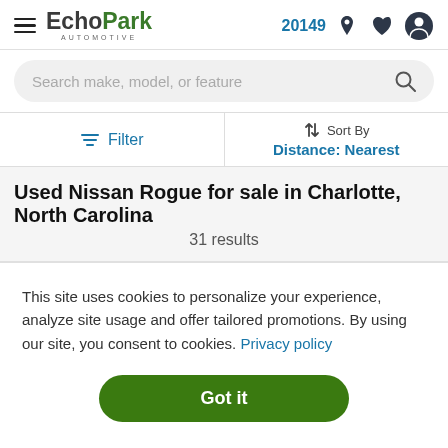EchoPark Automotive — 20149
Search make, model, or feature
Filter | Sort By Distance: Nearest
Used Nissan Rogue for sale in Charlotte, North Carolina
31 results
This site uses cookies to personalize your experience, analyze site usage and offer tailored promotions. By using our site, you consent to cookies. Privacy policy
Got it